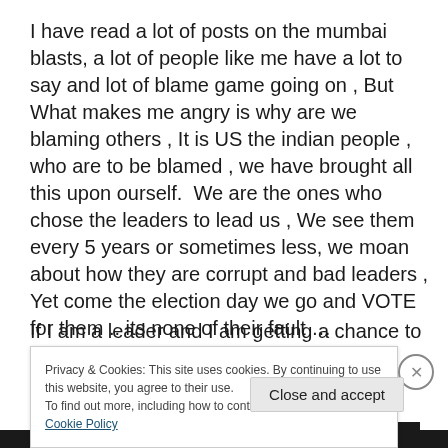I have read a lot of posts on the mumbai blasts, a lot of people like me have a lot to say and lot of blame game going on , But What makes me angry is why are we blaming others , It is US the indian people , who are to be blamed , we have brought all this upon ourself.  We are the ones who chose the leaders to lead us , We see them every 5 years or sometimes less, we moan about how they are corrupt and bad leaders , Yet come the election day we go and VOTE for them .. its none of their fault …
If I am a leader and I am getting a chance to rob anyone
Privacy & Cookies: This site uses cookies. By continuing to use this website, you agree to their use.
To find out more, including how to control cookies, see here: Cookie Policy